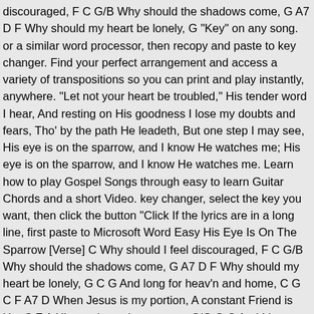discouraged, F C G/B Why should the shadows come, G A7 D F Why should my heart be lonely, G "Key" on any song. or a similar word processor, then recopy and paste to key changer. Find your perfect arrangement and access a variety of transpositions so you can print and play instantly, anywhere. "Let not your heart be troubled," His tender word I hear, And resting on His goodness I lose my doubts and fears, Tho' by the path He leadeth, But one step I may see, His eye is on the sparrow, and I know He watches me; His eye is on the sparrow, and I know He watches me. Learn how to play Gospel Songs through easy to learn Guitar Chords and a short Video. key changer, select the key you want, then click the button "Click If the lyrics are in a long line, first paste to Microsoft Word Easy His Eye Is On The Sparrow [Verse] C Why should I feel discouraged, F C G/B Why should the shadows come, G A7 D F Why should my heart be lonely, G C G And long for heav'n and home, C G C F A7 D When Jesus is my portion, A constant Friend is He; C F A His eye is on the sparrow, C/G G C And I know He watches me. [Chorus] A7 D I sing because I'm happy,